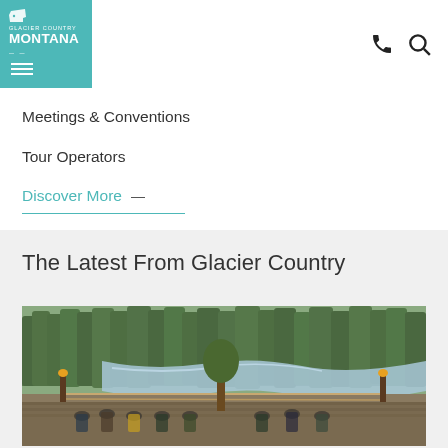[Figure (logo): Glacier Country Montana logo — teal square with white state outline icon, GLACIER COUNTRY text above MONTANA in bold white capitals, hamburger menu lines below]
Meetings & Conventions
Tour Operators
Discover More →
The Latest From Glacier Country
[Figure (photo): Outdoor riverside scene showing a group of people seated on a wooden deck with torch poles and rope railing, surrounded by pine trees with a rushing river in the background]